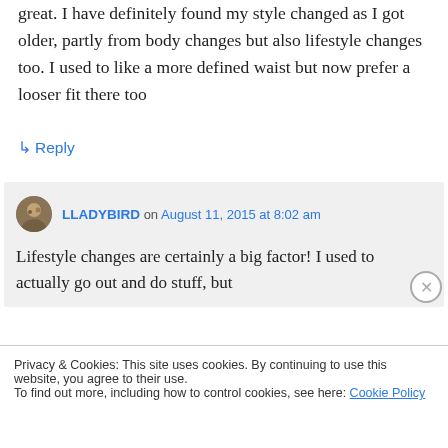great. I have definitely found my style changed as I got older, partly from body changes but also lifestyle changes too. I used to like a more defined waist but now prefer a looser fit there too
↳ Reply
LLADYBIRD on August 11, 2015 at 8:02 am
Lifestyle changes are certainly a big factor! I used to actually go out and do stuff, but
Privacy & Cookies: This site uses cookies. By continuing to use this website, you agree to their use.
To find out more, including how to control cookies, see here: Cookie Policy
Close and accept